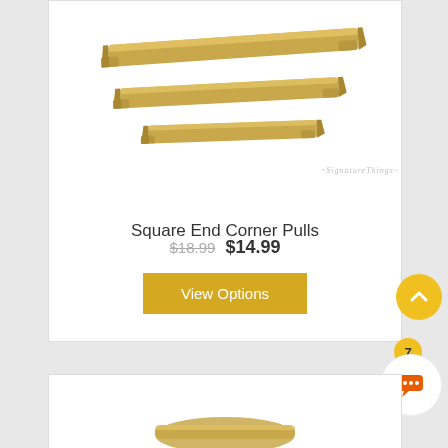[Figure (photo): Three brushed gold/brass square-end corner cabinet pulls arranged diagonally on a white background, with a 'SignatureThings' watermark in the lower right corner of the image.]
Square End Corner Pulls
$18.99  $14.99
View Options
[Figure (photo): Partial view of a second product card showing the top portion of another cabinet pull product image.]